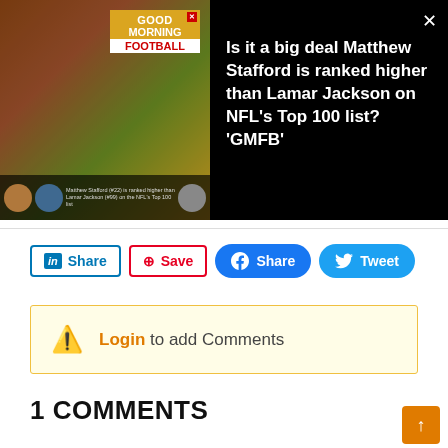[Figure (screenshot): Video thumbnail showing a man in white shirt on Good Morning Football TV set, with smaller inset images at bottom showing Matthew Stafford and Lamar Jackson graphics]
Is it a big deal Matthew Stafford is ranked higher than Lamar Jackson on NFL's Top 100 list? 'GMFB'
Share | Save | Share | Tweet
Login to add Comments
1 COMMENTS